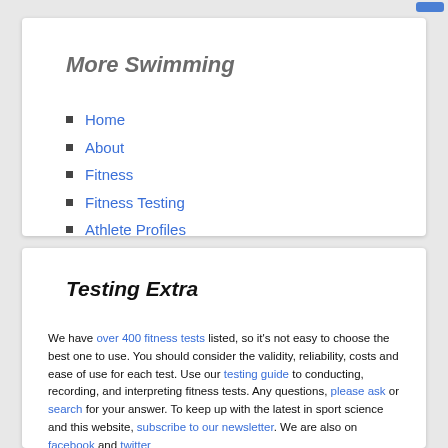More Swimming
Home
About
Fitness
Fitness Testing
Athlete Profiles
Testing Extra
We have over 400 fitness tests listed, so it's not easy to choose the best one to use. You should consider the validity, reliability, costs and ease of use for each test. Use our testing guide to conducting, recording, and interpreting fitness tests. Any questions, please ask or search for your answer. To keep up with the latest in sport science and this website, subscribe to our newsletter. We are also on facebook and twitter